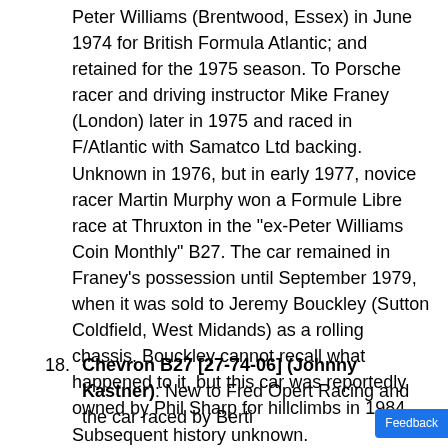Peter Williams (Brentwood, Essex) in June 1974 for British Formula Atlantic; and retained for the 1975 season. To Porsche racer and driving instructor Mike Franey (London) later in 1975 and raced in F/Atlantic with Samatco Ltd backing. Unknown in 1976, but in early 1977, novice racer Martin Murphy won a Formule Libre race at Thruxton in the "ex-Peter Williams Coin Monthly" B27. The car remained in Franey's possession until September 1979, when it was sold to Jeremy Bouckley (Sutton Coldfield, West Midands) as a rolling chassis. Bouckley cannot recall what happened to it, but this car was reportedly owned by Phil Sharp for hillclimbs in 1984. Subsequent history unknown.
18. Chevron B27 [27-74-06] (Johnny Kastner): New to Fred Opert Racing and the car raced by Berti...